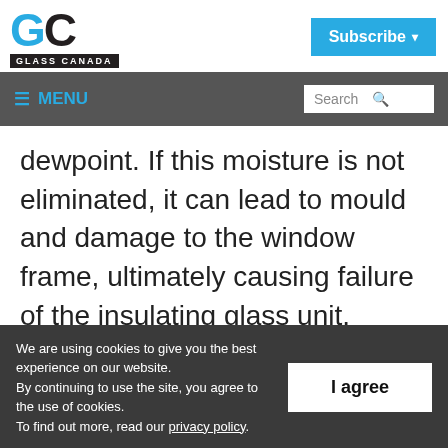Glass Canada | Subscribe
≡ MENU | Search
dewpoint. If this moisture is not eliminated, it can lead to mould and damage to the window frame, ultimately causing failure of the insulating glass unit.
We are using cookies to give you the best experience on our website. By continuing to use the site, you agree to the use of cookies. To find out more, read our privacy policy.